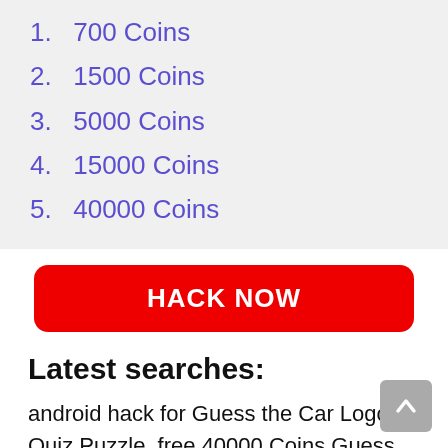1.  700 Coins
2.  1500 Coins
3.  5000 Coins
4.  15000 Coins
5.  40000 Coins
HACK NOW
Latest searches:
android hack for Guess the Car Logo Quiz Puzzle, free 40000 Coins Guess the Car Logo Quiz Puzzle, free 40000 Coins Guess the Car Logo Quiz Puzzle, get free 40000 Coins Guess the Car Logo Quiz Puzzle, hack for Guess the Car Logo Quiz Puzzle, 40000 Coins